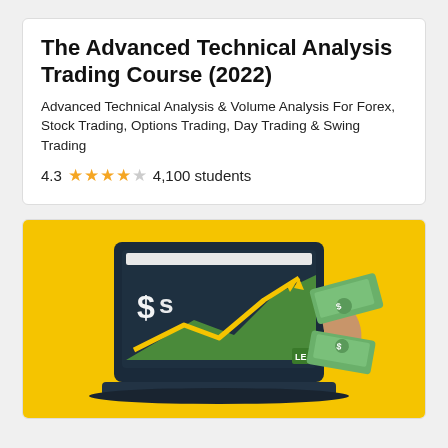The Advanced Technical Analysis Trading Course (2022)
Advanced Technical Analysis & Volume Analysis For Forex, Stock Trading, Options Trading, Day Trading & Swing Trading
4.3 ★★★★☆ 4,100 students
[Figure (illustration): Yellow background illustration of a laptop showing a stock chart with an upward trending arrow and dollar sign ($$), with a hand holding cash/money bills on the right side. A small green badge with 'LE' is visible on the chart.]